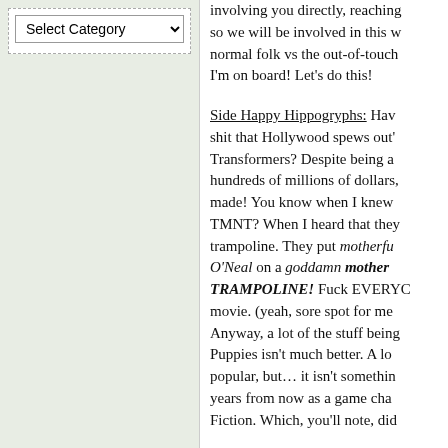[Figure (screenshot): A dropdown selector widget with label 'Select Category' and a down arrow, inside a dashed border box on a light green background panel.]
involving you directly, reaching so we will be involved in this w normal folk vs the out-of-touch I'm on board! Let's do this!
Side Happy Hippogryphs: Hav shit that Hollywood spews out' Transformers? Despite being a hundreds of millions of dollars, made! You know when I knew TMNT? When I heard that they trampoline. They put motherfu O'Neal on a goddamn mother TRAMPOLINE! Fuck EVERY( movie. (yeah, sore spot for me Anyway, a lot of the stuff being Puppies isn't much better. A lo popular, but… it isn't somethin years from now as a game cha Fiction. Which, you'll note, did